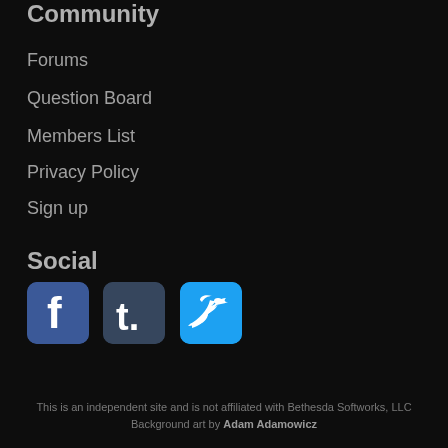Community
Forums
Question Board
Members List
Privacy Policy
Sign up
Social
[Figure (illustration): Facebook, Tumblr, and Twitter social media icon buttons]
This is an independent site and is not affiliated with Bethesda Softworks, LLC
Background art by Adam Adamowicz